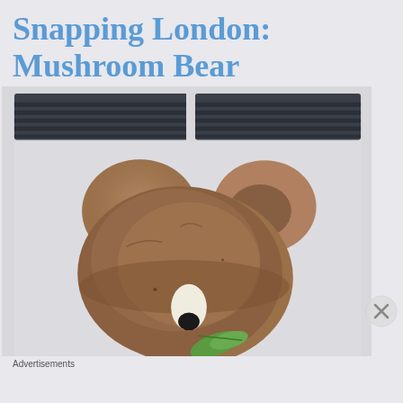Snapping London: Mushroom Bear
[Figure (photo): A creative food photograph showing a mushroom arranged to look like a bear face, with a small white nose piece and a green leaf/herb in its mouth, set against a light background with dark ventilation grilles visible at the top.]
Advertisements
[Figure (infographic): Advertisement banner: dark background with white circular icon showing a house/tree logo, green text reading 'Turn your blog into a money-making online course.' with a white arrow on the right.]